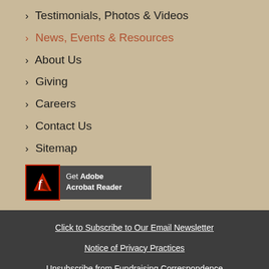> Testimonials, Photos & Videos
> News, Events & Resources
> About Us
> Giving
> Careers
> Contact Us
> Sitemap
[Figure (logo): Get Adobe Acrobat Reader button with red/black Adobe icon]
Click to Subscribe to Our Email Newsletter
Notice of Privacy Practices
Unsubscribe from Fundraising Correspondence
Federal Nondiscrimination and Accessibility Notice